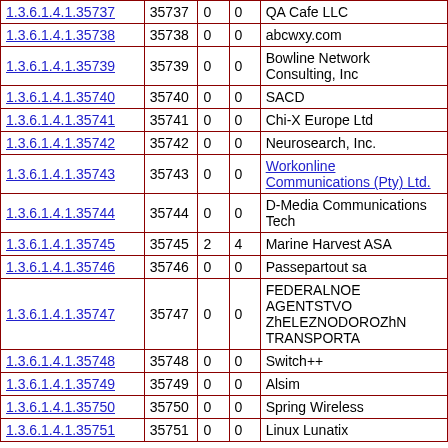| OID | Number | Col3 | Col4 | Organization |
| --- | --- | --- | --- | --- |
| 1.3.6.1.4.1.35737 | 35737 | 0 | 0 | QA Cafe LLC |
| 1.3.6.1.4.1.35738 | 35738 | 0 | 0 | abcwxy.com |
| 1.3.6.1.4.1.35739 | 35739 | 0 | 0 | Bowline Network Consulting, Inc |
| 1.3.6.1.4.1.35740 | 35740 | 0 | 0 | SACD |
| 1.3.6.1.4.1.35741 | 35741 | 0 | 0 | Chi-X Europe Ltd |
| 1.3.6.1.4.1.35742 | 35742 | 0 | 0 | Neurosearch, Inc. |
| 1.3.6.1.4.1.35743 | 35743 | 0 | 0 | Workonline Communications (Pty) Ltd. |
| 1.3.6.1.4.1.35744 | 35744 | 0 | 0 | D-Media Communications Tech |
| 1.3.6.1.4.1.35745 | 35745 | 2 | 4 | Marine Harvest ASA |
| 1.3.6.1.4.1.35746 | 35746 | 0 | 0 | Passepartout sa |
| 1.3.6.1.4.1.35747 | 35747 | 0 | 0 | FEDERALNOE AGENTSTVO ZhELEZNODOROZhNOGO TRANSPORTA |
| 1.3.6.1.4.1.35748 | 35748 | 0 | 0 | Switch++ |
| 1.3.6.1.4.1.35749 | 35749 | 0 | 0 | Alsim |
| 1.3.6.1.4.1.35750 | 35750 | 0 | 0 | Spring Wireless |
| 1.3.6.1.4.1.35751 | 35751 | 0 | 0 | Linux Lunatix |